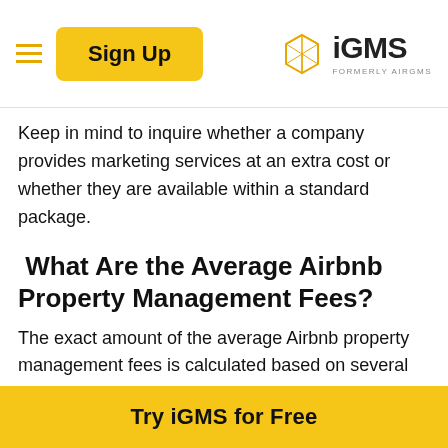Sign Up | iGMS FORMERLY AIRGMS
Keep in mind to inquire whether a company provides marketing services at an extra cost or whether they are available within a standard package.
What Are the Average Airbnb Property Management Fees?
The exact amount of the average Airbnb property management fees is calculated based on several factors. However, if talking about a very approximate range, they may vary between 20%-40% of your
Try iGMS for Free